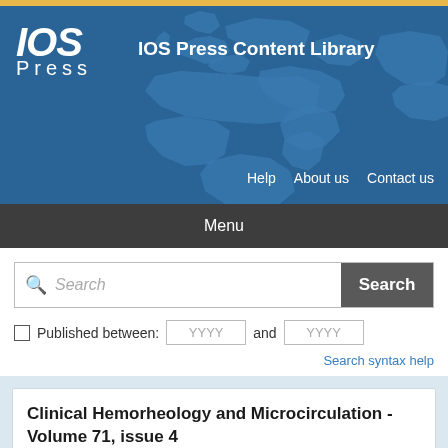[Figure (logo): IOS Press logo and world map background with header navigation]
IOS Press Content Library
Help   About us   Contact us
Menu
Search
Published between: YYYY and YYYY
Search syntax help
Clinical Hemorheology and Microcirculation - Volume 71, issue 4